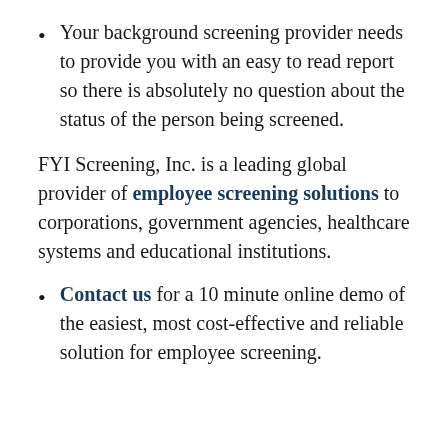Your background screening provider needs to provide you with an easy to read report so there is absolutely no question about the status of the person being screened.
FYI Screening, Inc. is a leading global provider of employee screening solutions to corporations, government agencies, healthcare systems and educational institutions.
Contact us for a 10 minute online demo of the easiest, most cost-effective and reliable solution for employee screening.